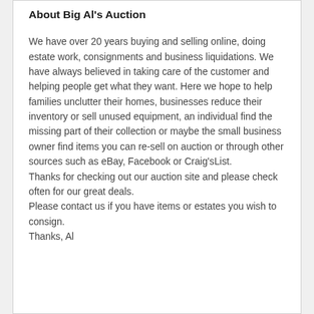About Big Al's Auction
We have over 20 years buying and selling online, doing estate work, consignments and business liquidations. We have always believed in taking care of the customer and helping people get what they want. Here we hope to help families unclutter their homes, businesses reduce their inventory or sell unused equipment, an individual find the missing part of their collection or maybe the small business owner find items you can re-sell on auction or through other sources such as eBay, Facebook or Craig'sList.
Thanks for checking out our auction site and please check often for our great deals.
Please contact us if you have items or estates you wish to consign.
Thanks, Al